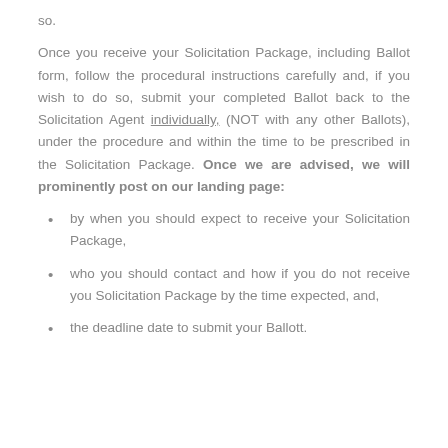so.
Once you receive your Solicitation Package, including Ballot form, follow the procedural instructions carefully and, if you wish to do so, submit your completed Ballot back to the Solicitation Agent individually, (NOT with any other Ballots), under the procedure and within the time to be prescribed in the Solicitation Package. Once we are advised, we will prominently post on our landing page:
by when you should expect to receive your Solicitation Package,
who you should contact and how if you do not receive you Solicitation Package by the time expected, and,
the deadline date to submit your Ballott.